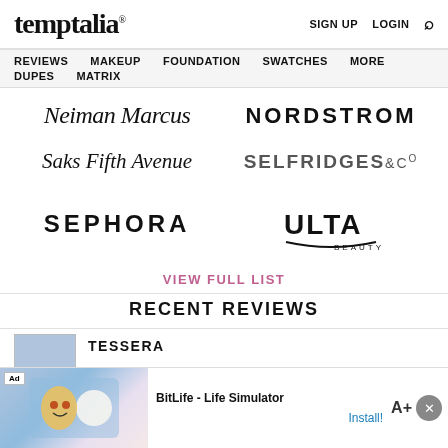temptalia® | SIGN UP  LOGIN  🔍
REVIEWS  MAKEUP  FOUNDATION  SWATCHES  MORE  DUPES  MATRIX
[Figure (logo): Neiman Marcus logo in cursive script]
[Figure (logo): Nordstrom logo in bold sans-serif capitals]
[Figure (logo): Saks Fifth Avenue logo in italic script]
[Figure (logo): Selfridges & Co logo in bold capitals]
[Figure (logo): Sephora logo in bold spaced capitals]
[Figure (logo): Ulta Beauty logo with circular swoosh]
VIEW FULL LIST
RECENT REVIEWS
[Figure (screenshot): Ad overlay: BitLife - Life Simulator Install!]